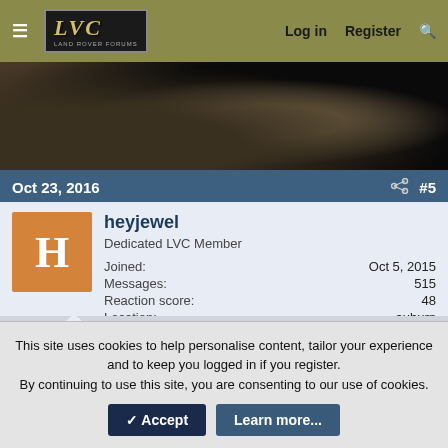LVC — Log in  Register  🔍
[Figure (photo): Dark outdoor banner image, appears to show ground/dirt scene in muted tones]
Oct 23, 2016   #5
heyjewel
Dedicated LVC Member
Joined: Oct 5, 2015
Messages: 515
Reaction score: 48
Location: auburn
Uberck said: ↑
This site uses cookies to help personalise content, tailor your experience and to keep you logged in if you register.
By continuing to use this site, you are consenting to our use of cookies.
✓ Accept   Learn more...